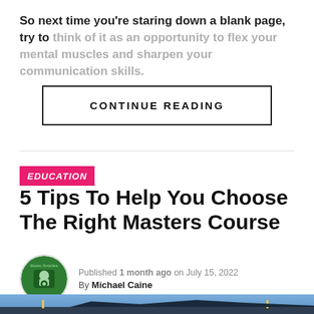So next time you're staring down a blank page, try to think of it as an opportunity to flex your mental muscles and sharpen your communication skills.
CONTINUE READING
EDUCATION
5 Tips To Help You Choose The Right Masters Course
Published 1 month ago on July 15, 2022
By Michael Caine
[Figure (photo): A photograph showing a building or architectural scene with flags against a partly cloudy blue sky]